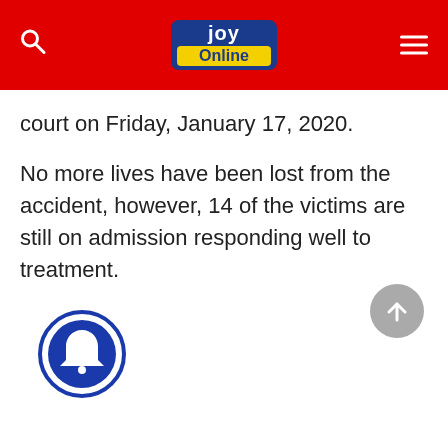Joy Online
court on Friday, January 17, 2020.
No more lives have been lost from the accident, however, 14 of the victims are still on admission responding well to treatment.
[Figure (illustration): Scroll-to-top circular grey button with upward arrow]
[Figure (illustration): Notification bell circular blue button]